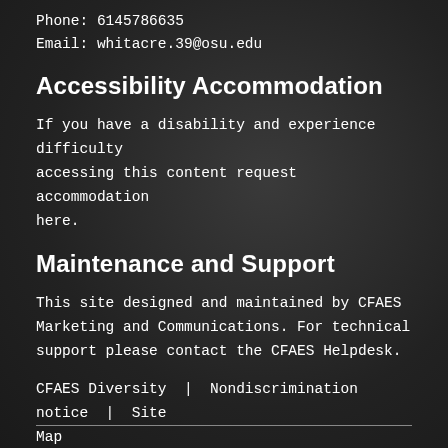Phone: 6145786635
Email: whitacre.39@osu.edu
Accessibility Accommodation
If you have a disability and experience difficulty accessing this content request accommodation here.
Maintenance and Support
This site designed and maintained by CFAES Marketing and Communications. For technical support please contact the CFAES Helpdesk.
CFAES Diversity  |  Nondiscrimination notice  |  Site Map